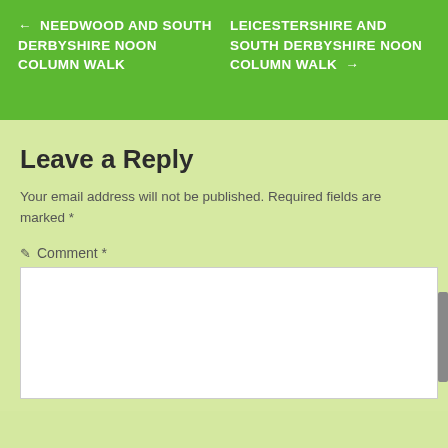← NEEDWOOD AND SOUTH DERBYSHIRE NOON COLUMN WALK
LEICESTERSHIRE AND SOUTH DERBYSHIRE NOON COLUMN WALK →
Leave a Reply
Your email address will not be published. Required fields are marked *
✏ Comment *